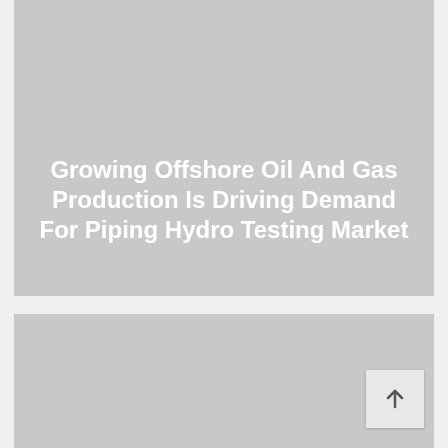[Figure (photo): Gray placeholder image block at top of page]
Growing Offshore Oil And Gas Production Is Driving Demand For Piping Hydro Testing Market
[Figure (photo): Gray placeholder image block at bottom of page with scroll-to-top button]